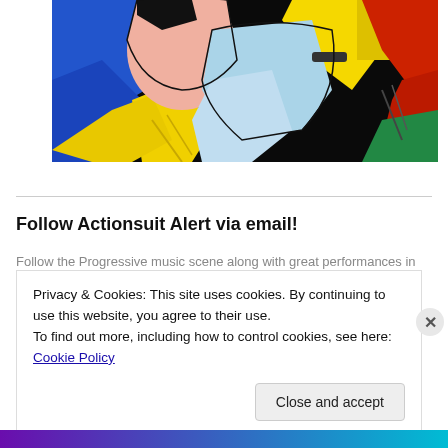[Figure (illustration): Comic book style pop art illustration showing two figures in close-up with bold colors: black, yellow, blue, pink, red, green, light blue on black background]
Follow Actionsuit Alert via email!
Follow the Progressive music scene along with great performances in
Privacy & Cookies: This site uses cookies. By continuing to use this website, you agree to their use.
To find out more, including how to control cookies, see here: Cookie Policy
Close and accept